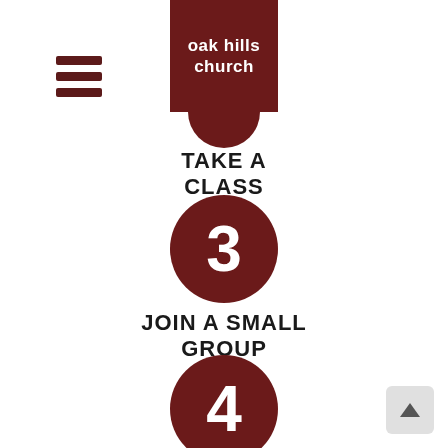[Figure (logo): Oak Hills Church logo — dark red rectangle with rounded bottom, white text reading 'oak hills church']
TAKE A CLASS
[Figure (infographic): Step 3 circle — dark red circle with white number 3]
JOIN A SMALL GROUP
[Figure (infographic): Step 4 circle — dark red circle with white number 4]
SERVE AT OAK HILLS